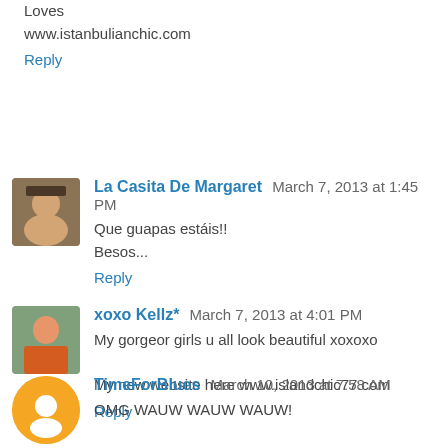Loves
www.istanbulianchic.com
Reply
La Casita De Margaret  March 7, 2013 at 1:45 PM
Que guapas estáis!!
Besos...
Reply
xoxo Kellz*  March 7, 2013 at 4:01 PM
My gorgeor girls u all look beautiful xoxoxo

My new website here www.islandchic77.com
Reply
TimeForBlues  March 10, 2013 at 7:58 AM
OMG WAUW WAUW WAUW!